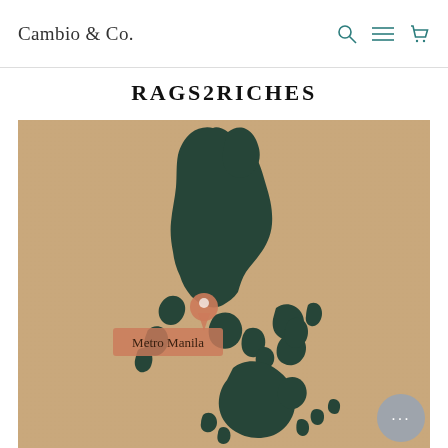Cambio & Co.
RAGS2RICHES
[Figure (map): Illustrated cork-texture map of the Philippines with dark green silhouette of the Philippine islands on a tan/kraft background. A salmon-colored location pin is placed at Metro Manila, with a label box reading 'Metro Manila'. A chat button (grey circle with ellipsis) appears in the lower right corner.]